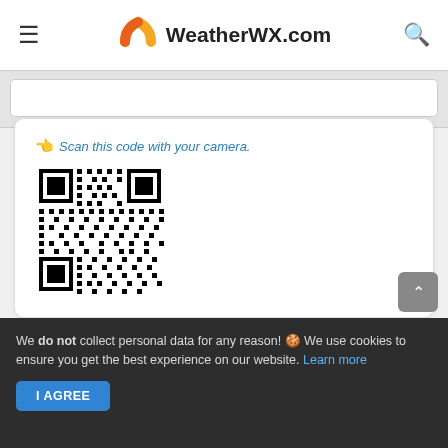WeatherWX.com
[Figure (other): QR code for Osbornville NC 14 Day Weather Forecast page on WeatherWX.com]
Scan this code with your camera.
Osbornville, NC 14 Day Weather Forecast - Find local Osbornville, North Carolina 14 day long range extended weather forecast and current conditions. Continually striving to be your best resource for long range extended Osbornville, North Carolina 14 day Weather!
We do not collect personal data for any reason! 🍪 We use cookies to ensure you get the best experience on our website. Learn more  I AGREE